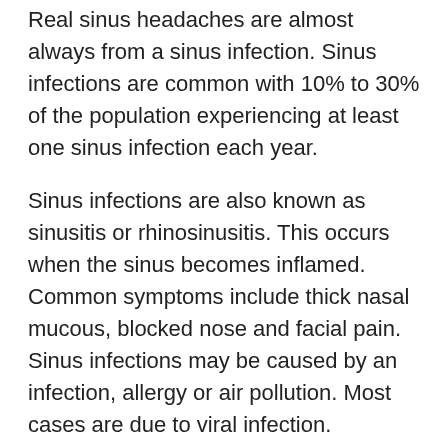Real sinus headaches are almost always from a sinus infection. Sinus infections are common with 10% to 30% of the population experiencing at least one sinus infection each year.
Sinus infections are also known as sinusitis or rhinosinusitis. This occurs when the sinus becomes inflamed. Common symptoms include thick nasal mucous, blocked nose and facial pain. Sinus infections may be caused by an infection, allergy or air pollution. Most cases are due to viral infection. Infections are often transmitted through coughing, sneezing, kissing, contact with contaminated surfaces, food or water or contact with infected animals or pets.
To understand how sinus headaches are confused with migraine its important to know what migraine is.